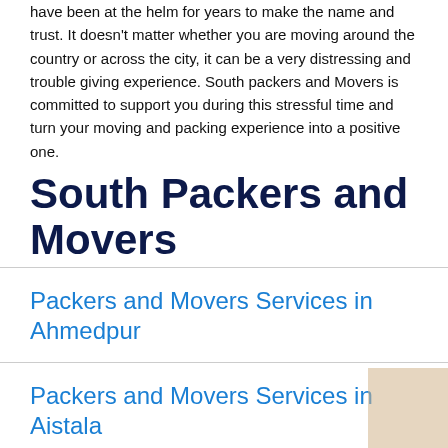have been at the helm for years to make the name and trust. It doesn't matter whether you are moving around the country or across the city, it can be a very distressing and trouble giving experience. South packers and Movers is committed to support you during this stressful time and turn your moving and packing experience into a positive one.
South Packers and Movers
Packers and Movers Services in Ahmedpur
Packers and Movers Services in Aistala
Packers and Movers Services in Aknapur